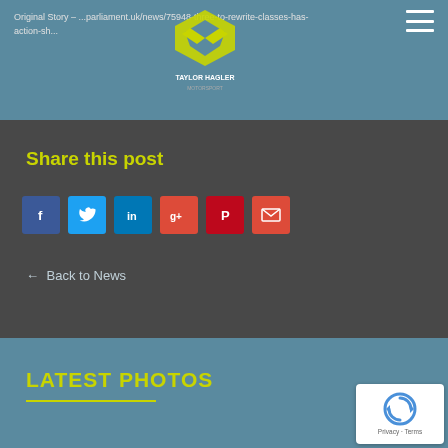Original Story - ...parliament.uk/news/75948-three-to-rewrite-classes-has-action-sh...
[Figure (logo): Taylor Hagler Motorsport logo - yellow angular shield/arrow design with text TAYLOR HAGLER MOTORSPORT]
Share this post
[Figure (infographic): Social share buttons row: Facebook (blue), Twitter (light blue), LinkedIn (dark blue), Google+ (red-orange), Pinterest (dark red), Email (red-orange)]
← Back to News
LATEST PHOTOS